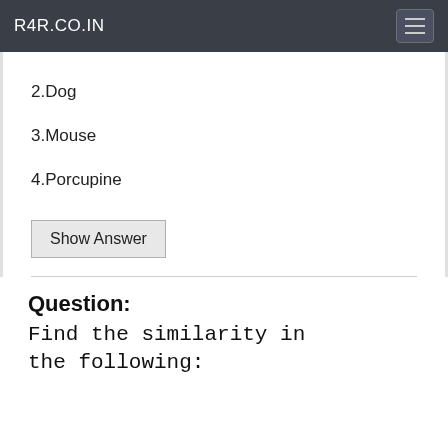R4R.CO.IN
2.Dog
3.Mouse
4.Porcupine
Show Answer
Question:
Find the similarity in the following: